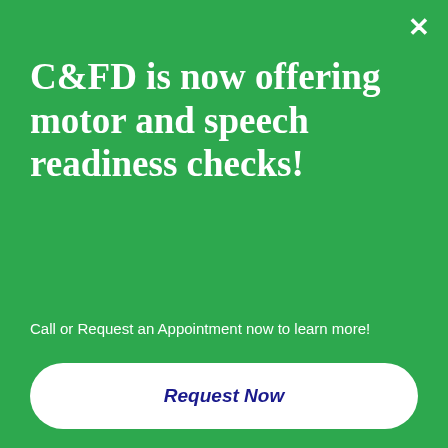C&FD is now offering motor and speech readiness checks!
Call or Request an Appointment now to learn more!
Request Now
p: 704.332.4834
f: 704.372.9653
PINEVILLE